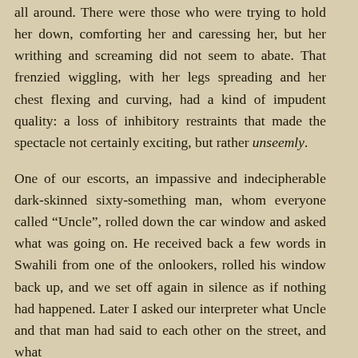all around. There were those who were trying to hold her down, comforting her and caressing her, but her writhing and screaming did not seem to abate. That frenzied wiggling, with her legs spreading and her chest flexing and curving, had a kind of impudent quality: a loss of inhibitory restraints that made the spectacle not certainly exciting, but rather unseemly.
One of our escorts, an impassive and indecipherable dark-skinned sixty-something man, whom everyone called “Uncle”, rolled down the car window and asked what was going on. He received back a few words in Swahili from one of the onlookers, rolled his window back up, and we set off again in silence as if nothing had happened. Later I asked our interpreter what Uncle and that man had said to each other on the street, and what